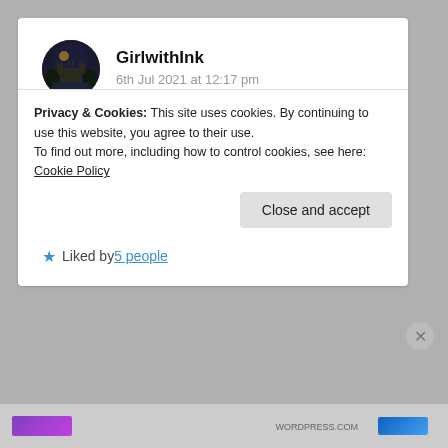GirlwithInk
6th Jul 2021 at 12:17 pm
Why is this poem so serious yet funny? I can feel the silence hanging between the characters and it ending in “Poetic v/s Pathetic”! Very well written! ✨
Liked by 5 people
Privacy & Cookies: This site uses cookies. By continuing to use this website, you agree to their use. To find out more, including how to control cookies, see here: Cookie Policy
Close and accept